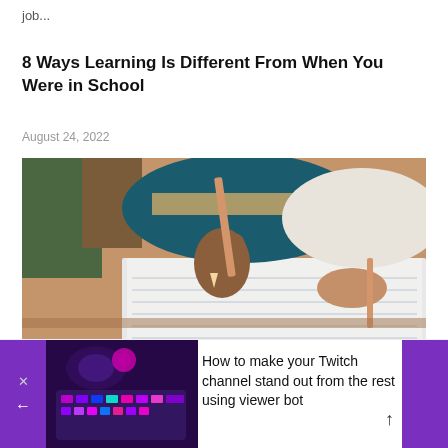job...
8 Ways Learning Is Different From When You Were in School
August 24, 2022
[Figure (photo): A student writing in a notebook with a pencil, wearing a blue and tan striped sweater, viewed from above at a desk]
[Figure (photo): Gaming setup with RGB keyboard and controller with purple/pink lighting]
How to make your Twitch channel stand out from the rest using viewer bot